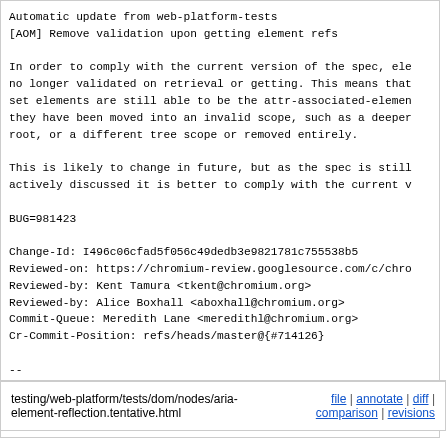Automatic update from web-platform-tests
[AOM] Remove validation upon getting element refs

In order to comply with the current version of the spec, ele
no longer validated on retrieval or getting. This means that
set elements are still able to be the attr-associated-elemen
they have been moved into an invalid scope, such as a deeper
root, or a different tree scope or removed entirely.

This is likely to change in future, but as the spec is still
actively discussed it is better to comply with the current v

BUG=981423

Change-Id: I496c06cfad5f056c49dedb3e9821781c755538b5
Reviewed-on: https://chromium-review.googlesource.com/c/chro
Reviewed-by: Kent Tamura <tkent@chromium.org>
Reviewed-by: Alice Boxhall <aboxhall@chromium.org>
Commit-Queue: Meredith Lane <meredithl@chromium.org>
Cr-Commit-Position: refs/heads/master@{#714126}

--

wpt-commits: 7cef27a0411cc87dccf0165c7e868e4008143daa
wpt-pr: 20080
testing/web-platform/tests/dom/nodes/aria-element-reflection.tentative.html
file | annotate | diff | comparison | revisions